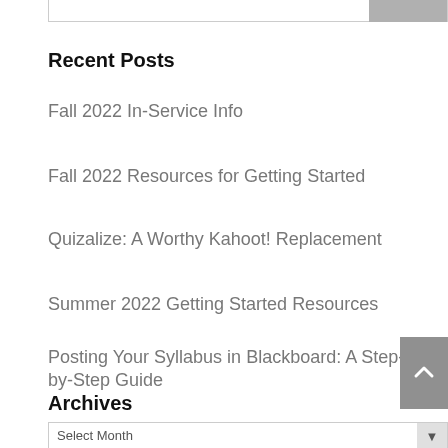Recent Posts
Fall 2022 In-Service Info
Fall 2022 Resources for Getting Started
Quizalize: A Worthy Kahoot! Replacement
Summer 2022 Getting Started Resources
Posting Your Syllabus in Blackboard: A Step-by-Step Guide
Archives